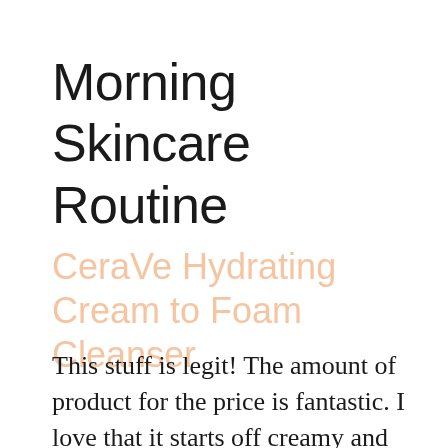Morning Skincare Routine
CeraVe Hydrating Cream to Foam Cleanser
This stuff is legit! The amount of product for the price is fantastic. I love that it starts off creamy and